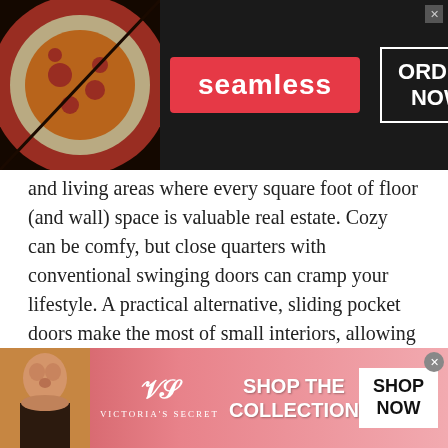[Figure (screenshot): Seamless food delivery advertisement banner with pizza image, red 'seamless' badge, and 'ORDER NOW' button on dark background]
and living areas where every square foot of floor (and wall) space is valuable real estate. Cozy can be comfy, but close quarters with conventional swinging doors can cramp your lifestyle. A practical alternative, sliding pocket doors make the most of small interiors, allowing you to add furniture, lighting, storage, or wall décor.

Precision-engineered in the USA since 1958, Johnson Hardware's innovative pocket door frame hardware helps you realize any smaller room's potential. Used
[Figure (screenshot): Victoria's Secret advertisement banner with model photo, VS logo, 'SHOP THE COLLECTION' text, and 'SHOP NOW' button on pink gradient background]